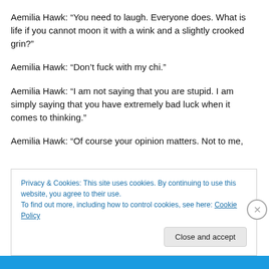Aemilia Hawk: “You need to laugh. Everyone does. What is life if you cannot moon it with a wink and a slightly crooked grin?”
Aemilia Hawk: “Don’t fuck with my chi.”
Aemilia Hawk: “I am not saying that you are stupid. I am simply saying that you have extremely bad luck when it comes to thinking.”
Aemilia Hawk: “Of course your opinion matters. Not to me,
Privacy & Cookies: This site uses cookies. By continuing to use this website, you agree to their use.
To find out more, including how to control cookies, see here: Cookie Policy